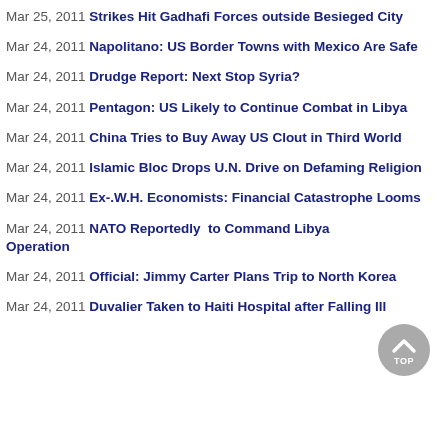Mar 25, 2011 Strikes Hit Gadhafi Forces outside Besieged City
Mar 24, 2011 Napolitano: US Border Towns with Mexico Are Safe
Mar 24, 2011 Drudge Report: Next Stop Syria?
Mar 24, 2011 Pentagon: US Likely to Continue Combat in Libya
Mar 24, 2011 China Tries to Buy Away US Clout in Third World
Mar 24, 2011 Islamic Bloc Drops U.N. Drive on Defaming Religion
Mar 24, 2011 Ex-.W.H. Economists: Financial Catastrophe Looms
Mar 24, 2011 NATO Reportedly  to Command Libya Operation
Mar 24, 2011 Official: Jimmy Carter Plans Trip to North Korea
Mar 24, 2011 Duvalier Taken to Haiti Hospital after Falling Ill